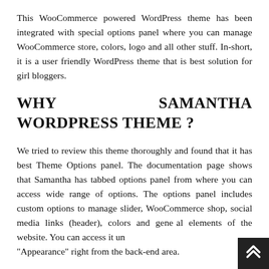This WooCommerce powered WordPress theme has been integrated with special options panel where you can manage WooCommerce store, colors, logo and all other stuff. In-short, it is a user friendly WordPress theme that is best solution for girl bloggers.
WHY SAMANTHA WORDPRESS THEME ?
We tried to review this theme thoroughly and found that it has best Theme Options panel. The documentation page shows that Samantha has tabbed options panel from where you can access wide range of options. The options panel includes custom options to manage slider, WooCommerce shop, social media links (header), colors and general elements of the website. You can access it under "Appearance" right from the back-end area.